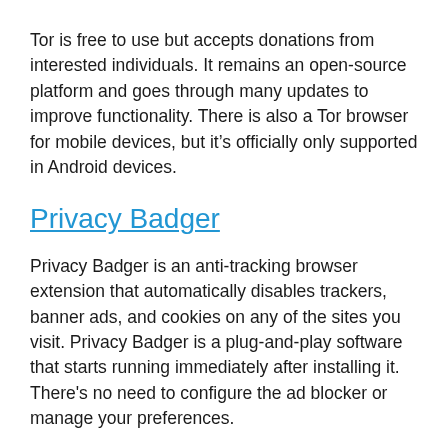Tor is free to use but accepts donations from interested individuals. It remains an open-source platform and goes through many updates to improve functionality. There is also a Tor browser for mobile devices, but it's officially only supported in Android devices.
Privacy Badger
Privacy Badger is an anti-tracking browser extension that automatically disables trackers, banner ads, and cookies on any of the sites you visit. Privacy Badger is a plug-and-play software that starts running immediately after installing it. There's no need to configure the ad blocker or manage your preferences.